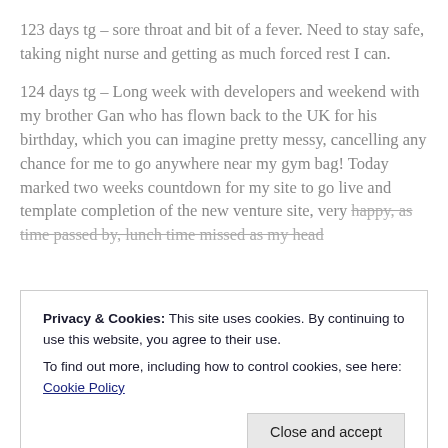123 days tg – sore throat and bit of a fever. Need to stay safe, taking night nurse and getting as much forced rest I can.
124 days tg – Long week with developers and weekend with my brother Gan who has flown back to the UK for his birthday, which you can imagine pretty messy, cancelling any chance for me to go anywhere near my gym bag! Today marked two weeks countdown for my site to go live and template completion of the new venture site, very happy, as time passed by, lunch time missed as my head...
Privacy & Cookies: This site uses cookies. By continuing to use this website, you agree to their use.
To find out more, including how to control cookies, see here: Cookie Policy
Close and accept
stopped two times near 8k, instead i kept going and